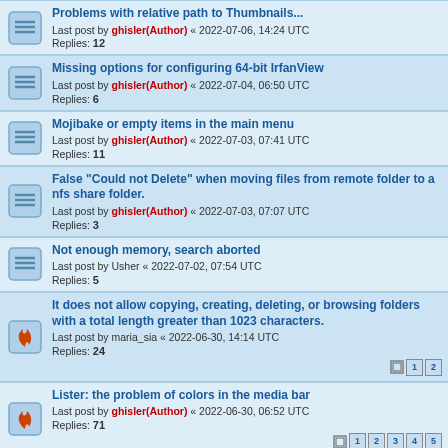Problems with relative path to Thumbnails... Last post by ghisler(Author) « 2022-07-06, 14:24 UTC Replies: 12
Missing options for configuring 64-bit IrfanView Last post by ghisler(Author) « 2022-07-04, 06:50 UTC Replies: 6
Mojibake or empty items in the main menu Last post by ghisler(Author) « 2022-07-03, 07:41 UTC Replies: 11
False "Could not Delete" when moving files from remote folder to a nfs share folder. Last post by ghisler(Author) « 2022-07-03, 07:07 UTC Replies: 3
Not enough memory, search aborted Last post by Usher « 2022-07-02, 07:54 UTC Replies: 5
It does not allow copying, creating, deleting, or browsing folders with a total length greater than 1023 characters. Last post by maria_sia « 2022-06-30, 14:14 UTC Replies: 24
Lister: the problem of colors in the media bar Last post by ghisler(Author) « 2022-06-30, 06:52 UTC Replies: 71
Synchronize Directories -- ESC does not close the dialog Last post by ghisler(Author) « 2022-06-29, 14:17 UTC Replies: 4
Flickering at the end of internal compare window Last post by ghisler(Author) ...